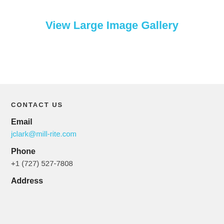View Large Image Gallery
CONTACT US
Email
jclark@mill-rite.com
Phone
+1 (727) 527-7808
Address